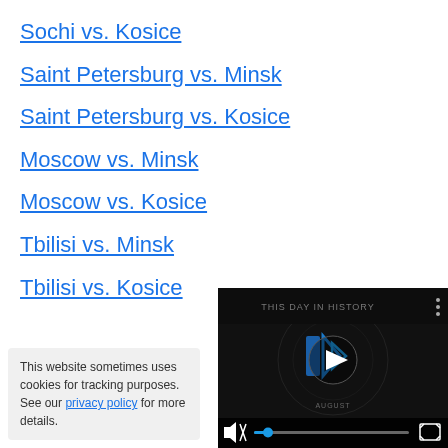Sochi vs. Kosice
Saint Petersburg vs. Minsk
Saint Petersburg vs. Kosice
Moscow vs. Minsk
Moscow vs. Kosice
Tbilisi vs. Minsk
Tbilisi vs. Kosice
This website sometimes uses cookies for tracking purposes. See our privacy policy for more details.
[Figure (screenshot): Video player showing 'THIS DAY IN HISTORY' with a play button and logo, with playback controls at the bottom including a mute icon, scrubber bar, and fullscreen button.]